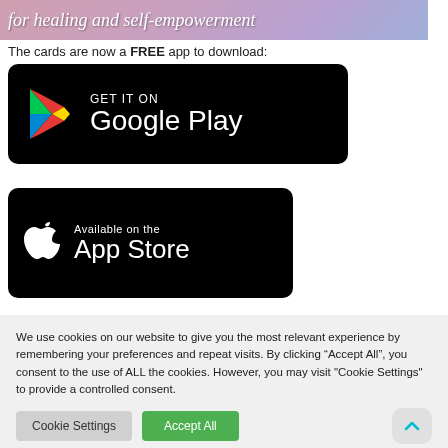[Figure (illustration): Top banner image with italic script text reading 'for healing and self-empowerment' over a pink/purple gradient background]
The cards are now a FREE app to download:
[Figure (logo): Google Play store badge — black rounded rectangle with Google Play triangle logo and text 'GET IT ON Google Play']
[Figure (logo): Apple App Store badge — black rounded rectangle with Apple logo and text 'Available on the App Store']
We use cookies on our website to give you the most relevant experience by remembering your preferences and repeat visits. By clicking “Accept All”, you consent to the use of ALL the cookies. However, you may visit "Cookie Settings" to provide a controlled consent.